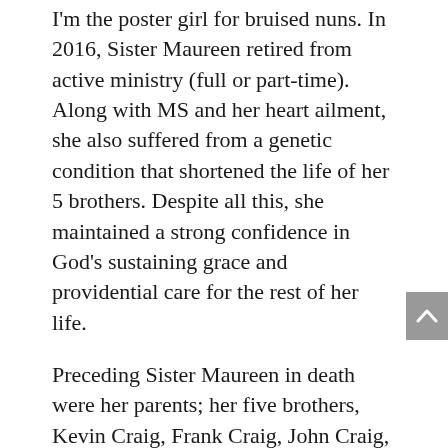I'm the poster girl for bruised nuns. In 2016, Sister Maureen retired from active ministry (full or part-time). Along with MS and her heart ailment, she also suffered from a genetic condition that shortened the life of her 5 brothers. Despite all this, she maintained a strong confidence in God's sustaining grace and providential care for the rest of her life.
Preceding Sister Maureen in death were her parents; her five brothers, Kevin Craig, Frank Craig, John Craig, Richard Craig, and William Craig; and her four sisters, Therese Shelton, Rosaleen Buthod, Brenda Bizzell, and Elizabeth Hottinger, and the deceased Sisters of the SCL Community. She is survived by numerous nieces and nephews.
A vigil will be held at 7:00 p.m. on Thursday,